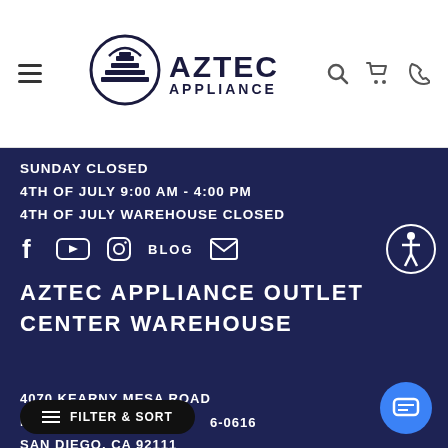[Figure (logo): Aztec Appliance logo with Aztec pyramid icon and bold text 'AZTEC APPLIANCE']
SUNDAY CLOSED
4TH OF JULY 9:00 AM - 4:00 PM
4TH OF JULY WAREHOUSE CLOSED
[Figure (infographic): Social media icons row: Facebook, YouTube, Instagram, BLOG text, Email envelope icon]
AZTEC APPLIANCE OUTLET CENTER WAREHOUSE
4070 KEARNY MESA ROAD
REAR WAREHOUSE
SAN DIEGO, CA 92111
6-0616
[Figure (other): Accessibility icon button (blue circle with person figure)]
[Figure (other): Chat button (blue circle with chat/message icon)]
[Figure (other): Filter & Sort button (black pill shape with filter lines icon and text FILTER & SORT)]